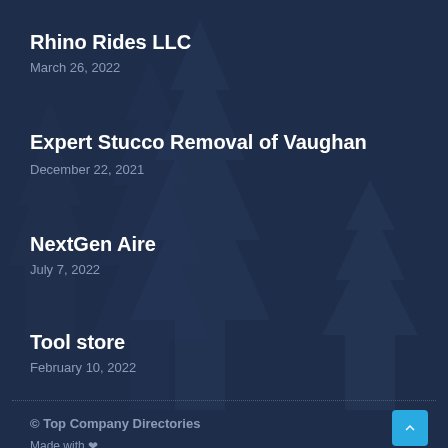Rhino Rides LLC
March 26, 2022
Expert Stucco Removal of Vaughan
December 22, 2021
NextGen Aire
July 7, 2022
Tool store
February 10, 2022
© Top Company Directories